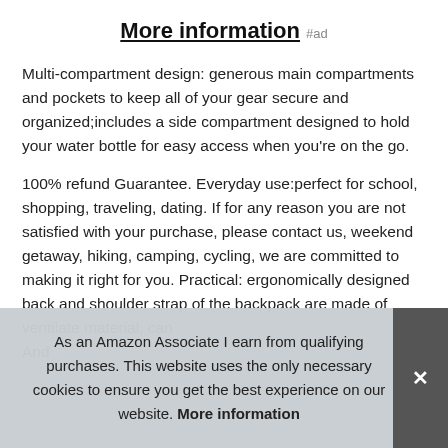More information #ad
Multi-compartment design: generous main compartments and pockets to keep all of your gear secure and organized;includes a side compartment designed to hold your water bottle for easy access when you’re on the go.
100% refund Guarantee. Everyday use:perfect for school, shopping, traveling, dating. If for any reason you are not satisfied with your purchase, please contact us, weekend getaway, hiking, camping, cycling, we are committed to making it right for you. Practical: ergonomically designed back and shoulder strap of the backpack are made of ventilate material, can… And…
As an Amazon Associate I earn from qualifying purchases. This website uses the only necessary cookies to ensure you get the best experience on our website. More information